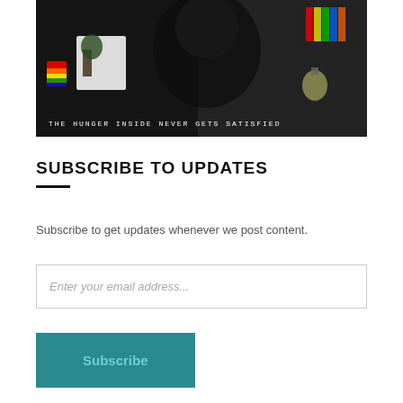[Figure (photo): A collage photo of a bearded man with graffiti-style text at the bottom reading 'THE HUNGER INSIDE NEVER GETS SATISFIED'. The image includes colorful stickers and overlays including a rainbow fist, a grenade, and book imagery.]
SUBSCRIBE TO UPDATES
Subscribe to get updates whenever we post content.
Enter your email address...
Subscribe